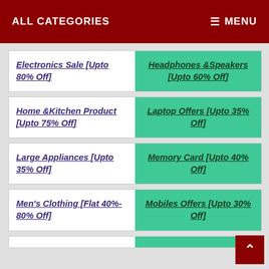ALL CATEGORIES   MENU
Electronics Sale [Upto 80% Off]
Headphones &Speakers [Upto 60% Off]
Home &Kitchen Product [Upto 75% Off]
Laptop Offers [Upto 35% Off]
Large Appliances [Upto 35% Off]
Memory Card [Upto 40% Off]
Men's Clothing [Flat 40%- 80% Off]
Mobiles Offers [Upto 30% Off]